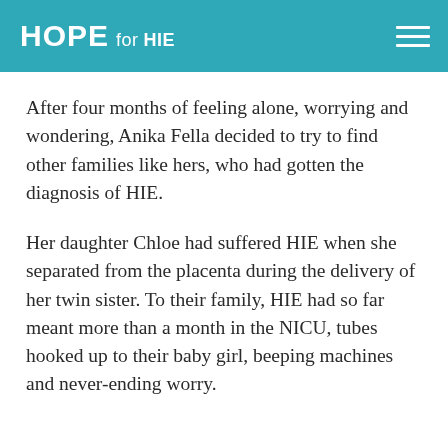HOPE for HIE
After four months of feeling alone, worrying and wondering, Anika Fella decided to try to find other families like hers, who had gotten the diagnosis of HIE.
Her daughter Chloe had suffered HIE when she separated from the placenta during the delivery of her twin sister. To their family, HIE had so far meant more than a month in the NICU, tubes hooked up to their baby girl, beeping machines and never-ending worry.